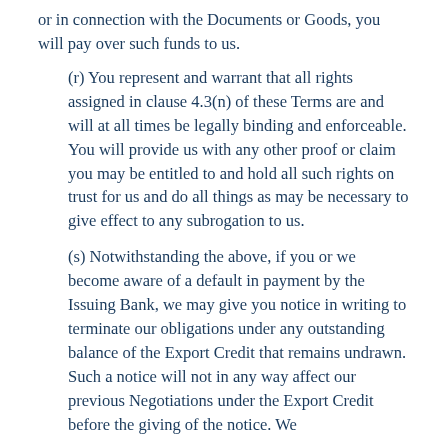or in connection with the Documents or Goods, you will pay over such funds to us.
(r) You represent and warrant that all rights assigned in clause 4.3(n) of these Terms are and will at all times be legally binding and enforceable. You will provide us with any other proof or claim you may be entitled to and hold all such rights on trust for us and do all things as may be necessary to give effect to any subrogation to us.
(s) Notwithstanding the above, if you or we become aware of a default in payment by the Issuing Bank, we may give you notice in writing to terminate our obligations under any outstanding balance of the Export Credit that remains undrawn. Such a notice will not in any way affect our previous Negotiations under the Export Credit before the giving of the notice. We